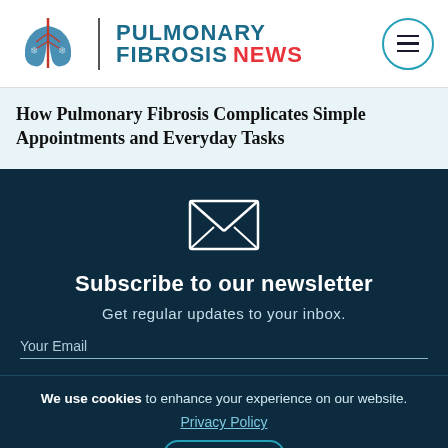[Figure (logo): Pulmonary Fibrosis News logo with lungs icon, divider, and site name text in blue and red]
How Pulmonary Fibrosis Complicates Simple Appointments and Everyday Tasks
[Figure (illustration): White envelope icon outline on dark teal background]
Subscribe to our newsletter
Get regular updates to your inbox.
Your Email
We use cookies to enhance your experience on our website. Privacy Policy
ACCEPT